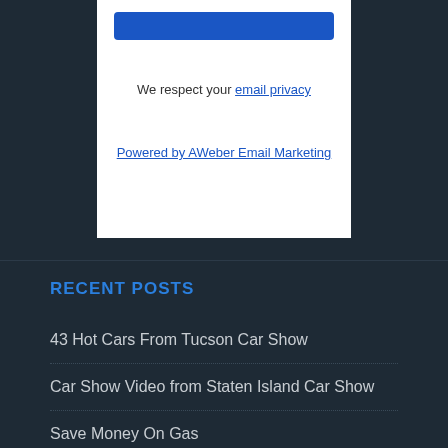[Figure (screenshot): Blue button element at top of white box]
We respect your email privacy
Powered by AWeber Email Marketing
RECENT POSTS
43 Hot Cars From Tucson Car Show
Car Show Video from Staten Island Car Show
Save Money On Gas